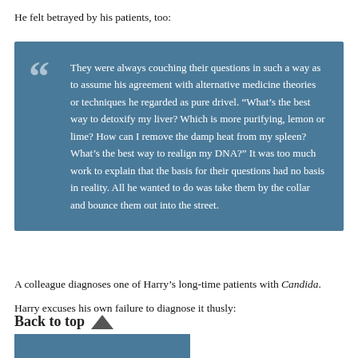He felt betrayed by his patients, too:
They were always couching their questions in such a way as to assume his agreement with alternative medicine theories or techniques he regarded as pure drivel. “What’s the best way to detoxify my liver? Which is more purifying, lemon or lime? How can I remove the damp heat from my spleen? What’s the best way to realign my DNA?” It was too much work to explain that the basis for their questions had no basis in reality. All he wanted to do was take them by the collar and bounce them out into the street.
A colleague diagnoses one of Harry’s long-time patients with Candida.
Harry excuses his own failure to diagnose it thusly: